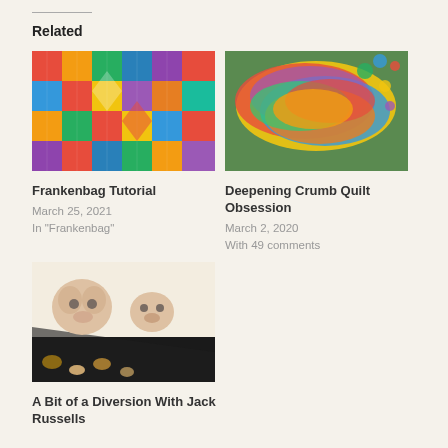Related
[Figure (photo): Colorful patchwork quilt blocks arranged on a green cutting mat]
Frankenbag Tutorial
March 25, 2021
In "Frankenbag"
[Figure (photo): Colorful folded fabric strips and pieces stacked on a cutting mat]
Deepening Crumb Quilt Obsession
March 2, 2020
With 49 comments
[Figure (photo): Fabric featuring Jack Russell terrier dogs on white background with dark border fabric]
A Bit of a Diversion With Jack Russells